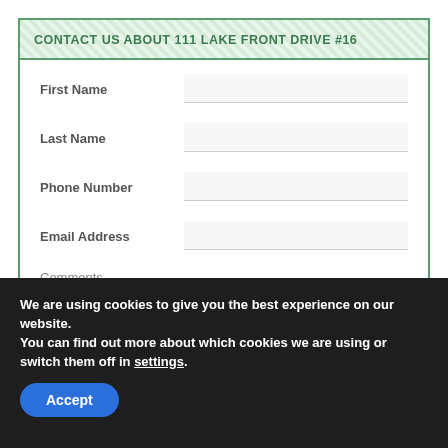CONTACT US ABOUT 111 LAKE FRONT DRIVE #16
First Name
Last Name
Phone Number
Email Address
Comments
We are using cookies to give you the best experience on our website.
You can find out more about which cookies we are using or switch them off in settings.
Accept